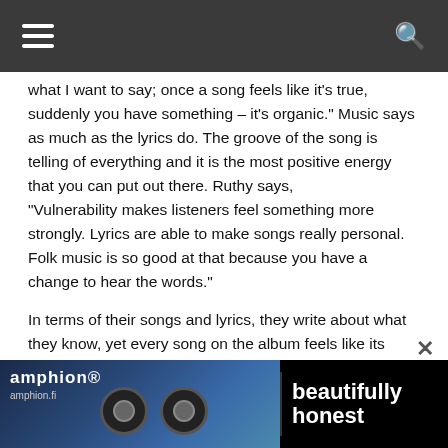Navigation bar with hamburger menu and search icon
what I want to say; once a song feels like it's true, suddenly you have something – it's organic." Music says as much as the lyrics do. The groove of the song is telling of everything and it is the most positive energy that you can put out there. Ruthy says, "Vulnerability makes listeners feel something more strongly. Lyrics are able to make songs really personal. Folk music is so good at that because you have a change to hear the words."
In terms of their songs and lyrics, they write about what they know, yet every song on the album feels like its being sung for you. For Bright As You Can, Mike proudly asserts that, “We sat there from beginning to end; we sat there and wrote it all. Close to three thousand words!” Music informed the words and before they knew it, they had something tangible. But it’s important to note that not everything happens overnight. Mike explains that “Chasin’ Gold” took aim... time to life whe... at a song do...
[Figure (advertisement): Amphion audio speaker advertisement banner with logo, speakers, and 'beautifully honest' tagline]